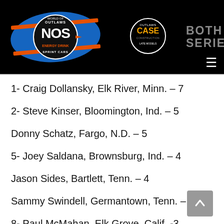[Figure (logo): World of Outlaws NOS Energy Drink Sprint Cars logo on black background with Outlaws CASE Construction Late Models logo and BOTH SERIES text]
1- Craig Dollansky, Elk River, Minn. – 7
2- Steve Kinser, Bloomington, Ind. – 5
Donny Schatz, Fargo, N.D. – 5
5- Joey Saldana, Brownsburg, Ind. – 4
Jason Sides, Bartlett, Tenn. – 4
Sammy Swindell, Germantown, Tenn. – 4
8- Paul McMahan, Elk Grove, Calif. -3